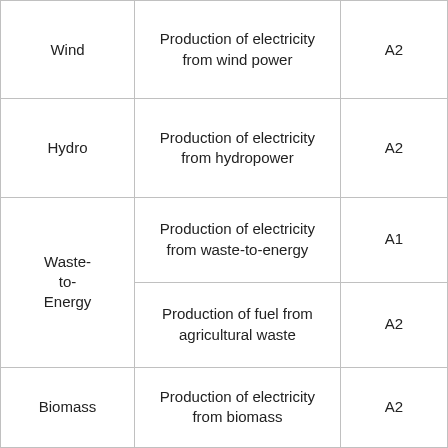|  |  |  |
| --- | --- | --- |
| Wind | Production of electricity from wind power | A2 |
| Hydro | Production of electricity from hydropower | A2 |
| Waste-to-Energy | Production of electricity from waste-to-energy | A1 |
| Waste-to-Energy | Production of fuel from agricultural waste | A2 |
| Biomass | Production of electricity from biomass | A2 |